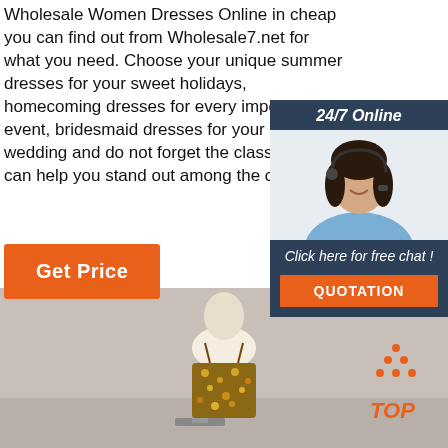Wholesale Women Dresses Online in cheap you can find out from Wholesale7.net for what you need. Choose your unique summer dresses for your sweet holidays, homecoming dresses for every important event, bridesmaid dresses for your close wedding and do not forget the classical re can help you stand out among the crowd
[Figure (illustration): Chat widget with 24/7 Online header, agent photo of woman with headset, Click here for free chat text, and QUOTATION orange button]
Get Price
[Figure (photo): Bottom section showing a mannequin wearing a floral dress, with a TOP navigation button with orange dots in bottom right corner]